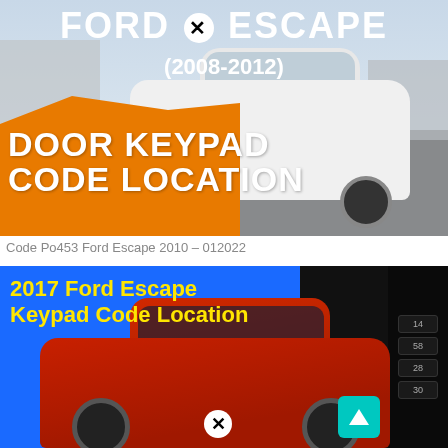[Figure (photo): Ford Escape (2008-2012) with 'DOOR KEYPAD CODE LOCATION' text overlay on orange grunge background. White SUV parked outdoors in winter.]
Code Po453 Ford Escape 2010 – 012022
[Figure (photo): 2017 Ford Escape Keypad Code Location. Red Ford Escape SUV on blue background with numeric keypad strip on right side.]